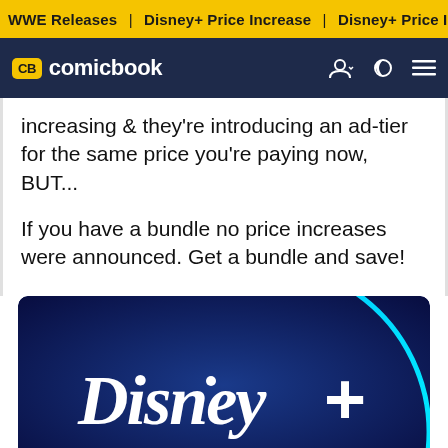WWE Releases | Disney+ Price Increase | Disney+ Price Incre
CB comicbook
increasing & they're introducing an ad-tier for the same price you're paying now, BUT...

If you have a bundle no price increases were announced. Get a bundle and save!
[Figure (illustration): Disney+ logo on dark blue background with circular arc graphic]